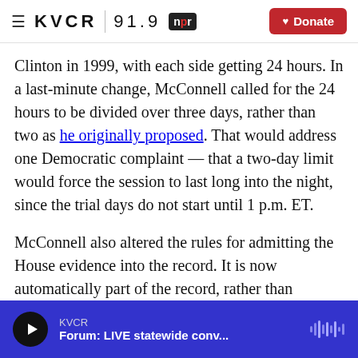KVCR 91.9 npr  Donate
Clinton in 1999, with each side getting 24 hours. In a last-minute change, McConnell called for the 24 hours to be divided over three days, rather than two as he originally proposed. That would address one Democratic complaint — that a two-day limit would force the session to last long into the night, since the trial days do not start until 1 p.m. ET.
McConnell also altered the rules for admitting the House evidence into the record. It is now automatically part of the record, rather than senators having to vote to include it.
KVCR  Forum: LIVE statewide conv...